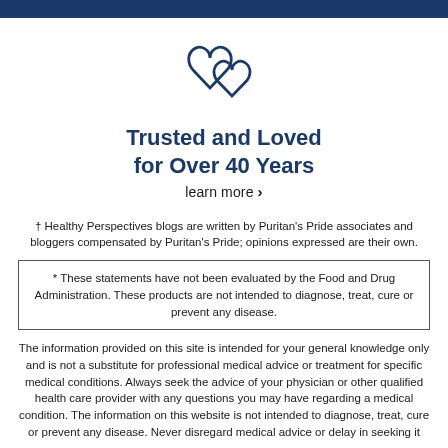[Figure (illustration): Two overlapping heart outlines drawn in navy blue, representing a logo or icon]
Trusted and Loved for Over 40 Years
learn more ›
† Healthy Perspectives blogs are written by Puritan's Pride associates and bloggers compensated by Puritan's Pride; opinions expressed are their own.
* These statements have not been evaluated by the Food and Drug Administration. These products are not intended to diagnose, treat, cure or prevent any disease.
The information provided on this site is intended for your general knowledge only and is not a substitute for professional medical advice or treatment for specific medical conditions. Always seek the advice of your physician or other qualified health care provider with any questions you may have regarding a medical condition. The information on this website is not intended to diagnose, treat, cure or prevent any disease. Never disregard medical advice or delay in seeking it